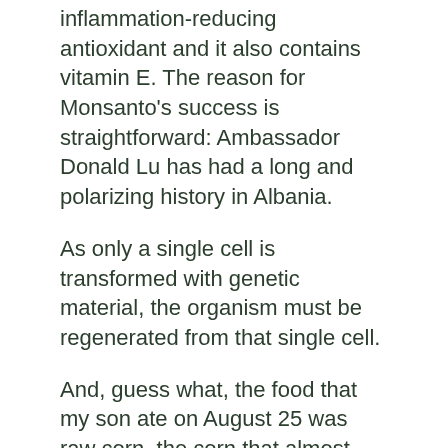inflammation-reducing antioxidant and it also contains vitamin E. The reason for Monsanto's success is straightforward: Ambassador Donald Lu has had a long and polarizing history in Albania.
As only a single cell is transformed with genetic material, the organism must be regenerated from that single cell.
And, guess what, the food that my son ate on August 25 was raw corn, the corn that almost killed him. So far, the pro-GM scientists have struggled to sell the benefits to a wider public.
As we have seen in the United States in vibrant real time over the last several years, the media have become a battleground for the powerful to fight it out with the goal of altering public.
O pponents of GMOs have been unceasing in their campaign to vilify genetically modified foods by describing them as “Frankenfoods,” thus implying they